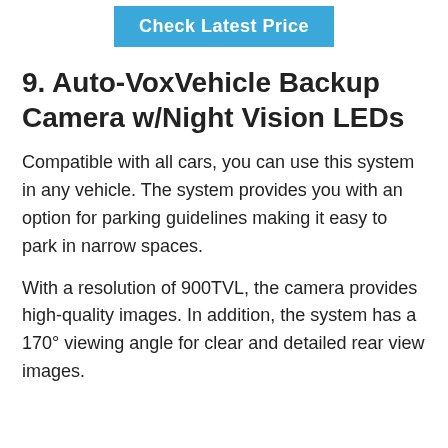[Figure (other): Blue button labeled 'Check Latest Price']
9. Auto-VoxVehicle Backup Camera w/Night Vision LEDs
Compatible with all cars, you can use this system in any vehicle. The system provides you with an option for parking guidelines making it easy to park in narrow spaces.
With a resolution of 900TVL, the camera provides high-quality images. In addition, the system has a 170° viewing angle for clear and detailed rear view images.